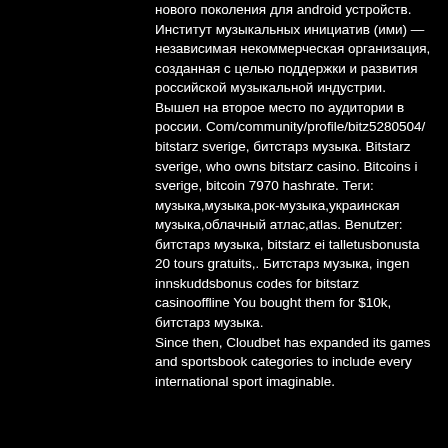нового поколения для android устройств. Институт музыкальных инициатив (ими) — независимая некоммерческая организация, созданная с целью поддержки и развития российской музыкальной индустрии. Вышел на второе место по аудитории в россии. Com/community/profile/bitz5280504/ bitstarz sverige, битстарз музыка. Bitstarz sverige, who owns bitstarz casino. Bitcoins i sverige, bitcoin 7970 hashrate. Теги: музыка,музыка,рок-музыка,украинская музыка,облачный атлас,atlas. Benutzer: битстарз музыка, bitstarz ei talletusbonusta 20 tours gratuits,. Битстарз музыка, ingen innskuddsbonus codes for bitstarz casinooffline You bought them for $10k, битстарз музыка. Since then, Cloudbet has expanded its games and sportsbook categories to include every international sport imaginable.